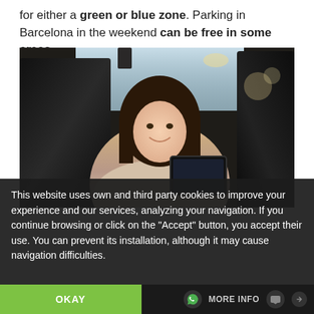for either a green or blue zone. Parking in Barcelona in the weekend can be free in some areas.
[Figure (photo): A young woman sitting in the back seat of a car, smiling and using a tablet. The interior has dark leather seats.]
This website uses own and third party cookies to improve your experience and our services, analyzing your navigation. If you continue browsing or click on the "Accept" button, you accept their use. You can prevent its installation, although it may cause navigation difficulties.